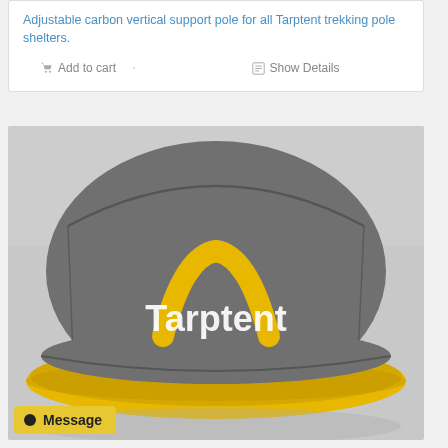Adjustable carbon vertical support pole for all Tarptent trekking pole shelters.
Add to cart
Show Details
[Figure (photo): Gray and yellow Tarptent branded cap/hat with yellow arc logo and white 'Tarptent' text on front panel. The cap has a gray crown and yellow brim.]
Message